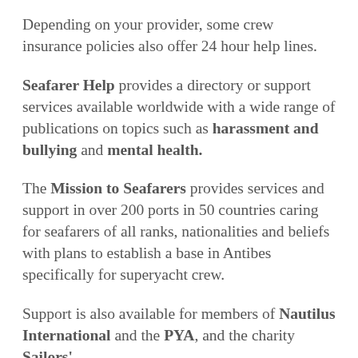Depending on your provider, some crew insurance policies also offer 24 hour help lines.
Seafarer Help provides a directory or support services available worldwide with a wide range of publications on topics such as harassment and bullying and mental health.
The Mission to Seafarers provides services and support in over 200 ports in 50 countries caring for seafarers of all ranks, nationalities and beliefs with plans to establish a base in Antibes specifically for superyacht crew.
Support is also available for members of Nautilus International and the PYA, and the charity Sailors'